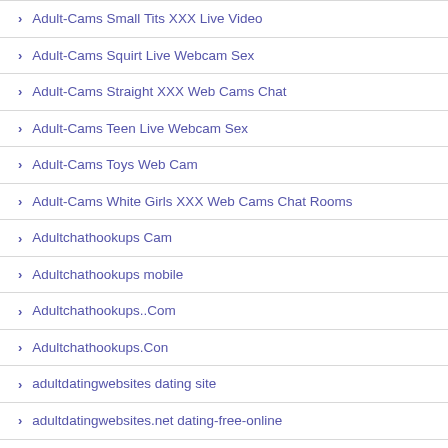Adult-Cams Small Tits XXX Live Video
Adult-Cams Squirt Live Webcam Sex
Adult-Cams Straight XXX Web Cams Chat
Adult-Cams Teen Live Webcam Sex
Adult-Cams Toys Web Cam
Adult-Cams White Girls XXX Web Cams Chat Rooms
Adultchathookups Cam
Adultchathookups mobile
Adultchathookups..Com
Adultchathookups.Con
adultdatingwebsites dating site
adultdatingwebsites.net dating-free-online
Adultfr
adultfriendfinder adult dating